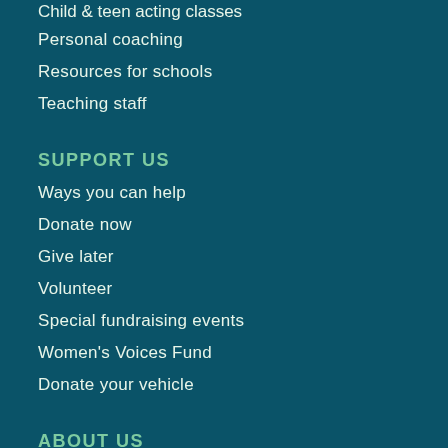Child & teen acting classes
Personal coaching
Resources for schools
Teaching staff
SUPPORT US
Ways you can help
Donate now
Give later
Volunteer
Special fundraising events
Women's Voices Fund
Donate your vehicle
ABOUT US
DCPA Broadway